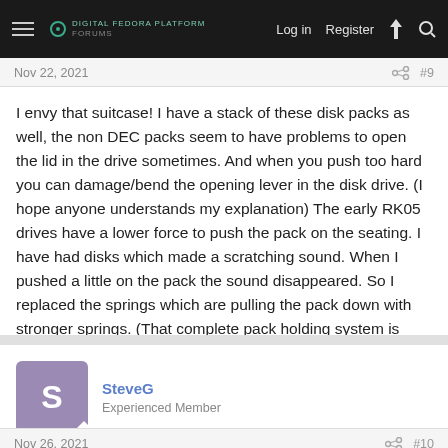Log in  Register
Nov 22, 2021  #9
I envy that suitcase! I have a stack of these disk packs as well, the non DEC packs seem to have problems to open the lid in the drive sometimes. And when you push too hard you can damage/bend the opening lever in the disk drive. (I hope anyone understands my explanation) The early RK05 drives have a lower force to push the pack on the seating. I have had disks which made a scratching sound. When I pushed a little on the pack the sound disappeared. So I replaced the springs which are pulling the pack down with stronger springs. (That complete pack holding system is modified in the RK05J drives)
SteveG
Experienced Member
Nov 26, 2021  #10